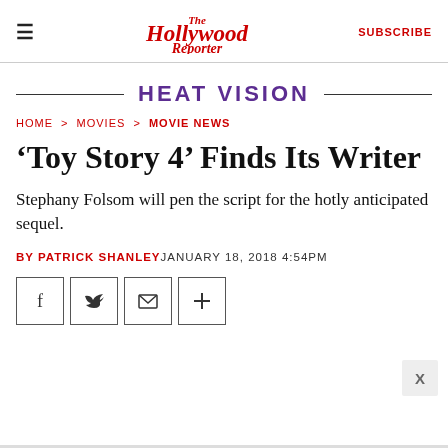The Hollywood Reporter | SUBSCRIBE
HEAT VISION
HOME > MOVIES > MOVIE NEWS
'Toy Story 4' Finds Its Writer
Stephany Folsom will pen the script for the hotly anticipated sequel.
BY PATRICK SHANLEY JANUARY 18, 2018 4:54PM